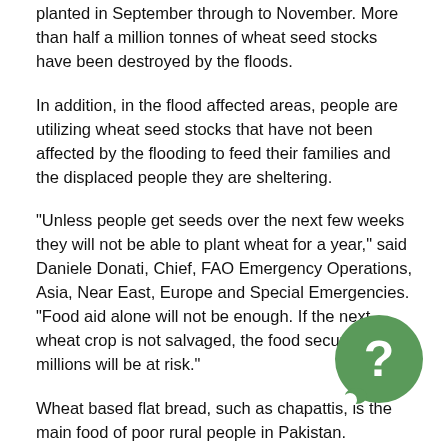planted in September through to November. More than half a million tonnes of wheat seed stocks have been destroyed by the floods.
In addition, in the flood affected areas, people are utilizing wheat seed stocks that have not been affected by the flooding to feed their families and the displaced people they are sheltering.
"Unless people get seeds over the next few weeks they will not be able to plant wheat for a year," said Daniele Donati, Chief, FAO Emergency Operations, Asia, Near East, Europe and Special Emergencies. "Food aid alone will not be enough. If the next wheat crop is not salvaged, the food security of millions will be at risk."
Wheat based flat bread, such as chapattis, is the main food of poor rural people in Pakistan.
[Figure (illustration): Green circular chat bubble icon with a white question mark inside]
Land for planting still exists